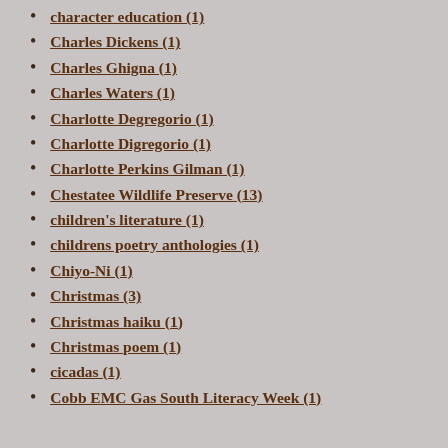character education (1)
Charles Dickens (1)
Charles Ghigna (1)
Charles Waters (1)
Charlotte Degregorio (1)
Charlotte Digregorio (1)
Charlotte Perkins Gilman (1)
Chestatee Wildlife Preserve (13)
children's literature (1)
childrens poetry anthologies (1)
Chiyo-Ni (1)
Christmas (3)
Christmas haiku (1)
Christmas poem (1)
cicadas (1)
Cobb EMC Gas South Literacy Week (1)